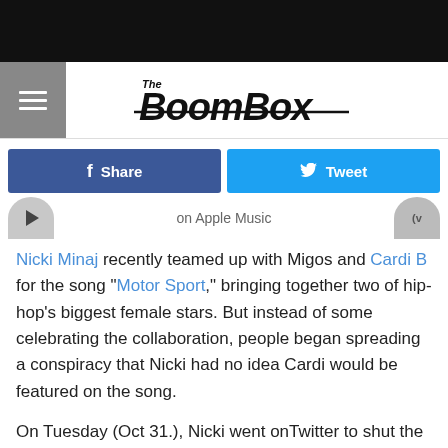The BoomBox
Share | Tweet
on Apple Music
Nicki Minaj recently teamed up with Migos and Cardi B for the song "Motor Sport," bringing together two of hip-hop's biggest female stars. But instead of some celebrating the collaboration, people began spreading a conspiracy that Nicki had no idea Cardi would be featured on the song.
On Tuesday (Oct 31.), Nicki went onTwitter to shut the rumors down. "I was on the song w/ Quavo," she tweeted. "No one else was on it. He called & asked if I think we